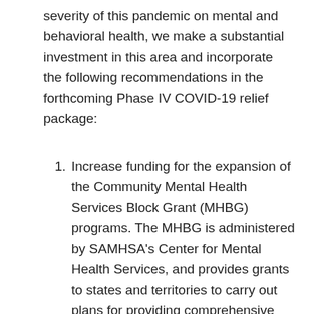severity of this pandemic on mental and behavioral health, we make a substantial investment in this area and incorporate the following recommendations in the forthcoming Phase IV COVID-19 relief package:
Increase funding for the expansion of the Community Mental Health Services Block Grant (MHBG) programs. The MHBG is administered by SAMHSA's Center for Mental Health Services, and provides grants to states and territories to carry out plans for providing comprehensive community mental health services. Grantees have the flexibility to use funds for both new programs or to supplement current activities to support mental health services to those with...